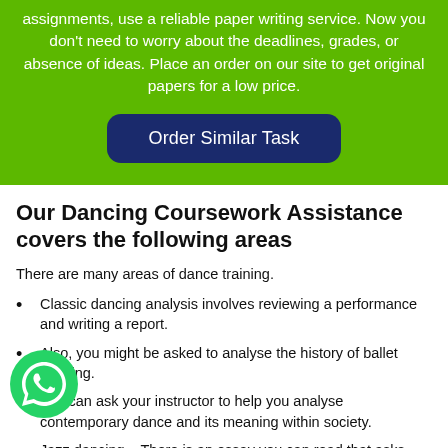assignments, use a reliable paper writing service. Now you don't need to worry about the deadlines, grades, or absence of ideas. Place an order on our site to get original papers for a low price.
Order Similar Task
Our Dancing Coursework Assistance covers the following areas
There are many areas of dance training.
Classic dancing analysis involves reviewing a performance and writing a report.
Also, you might be asked to analyse the history of ballet dancing.
You can ask your instructor to help you analyse contemporary dance and its meaning within society.
Jazz dancing – There is an essay you can read that asks you to examine jazz dancing. It traces its roots back to African